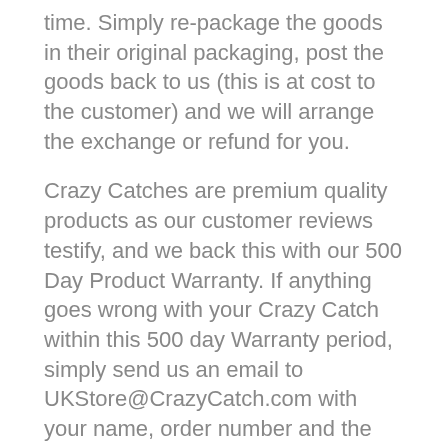time. Simply re-package the goods in their original packaging, post the goods back to us (this is at cost to the customer) and we will arrange the exchange or refund for you.
Crazy Catches are premium quality products as our customer reviews testify, and we back this with our 500 Day Product Warranty. If anything goes wrong with your Crazy Catch within this 500 day Warranty period, simply send us an email to UKStore@CrazyCatch.com with your name, order number and the problem you're facing and we will either provide a full refund or replace any parts to ensure your Crazy Catch is fully operational!